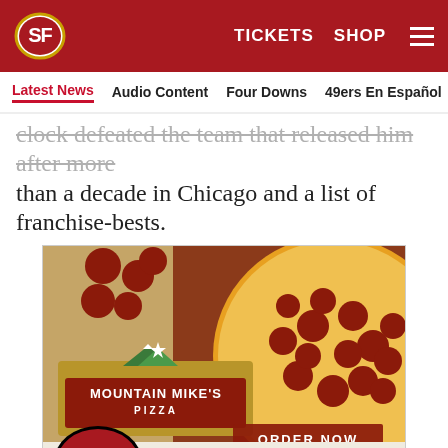[Figure (logo): San Francisco 49ers website header with red background, team logo oval on left, TICKETS and SHOP links on right with hamburger menu]
Latest News  Audio Content  Four Downs  49ers En Español  Ga...
clock defeated the team that released him after more than a decade in Chicago and a list of franchise-bests.
[Figure (photo): Mountain Mike's Pizza advertisement: pepperoni pizza photo with Mountain Mike's Pizza logo, ORDER NOW button, 49ers logo and text THE OFFICIAL PIZZA OF THE SAN FRANCISCO 49ERS]
[Figure (infographic): Social share icons row: Facebook, Twitter, Email, Link]